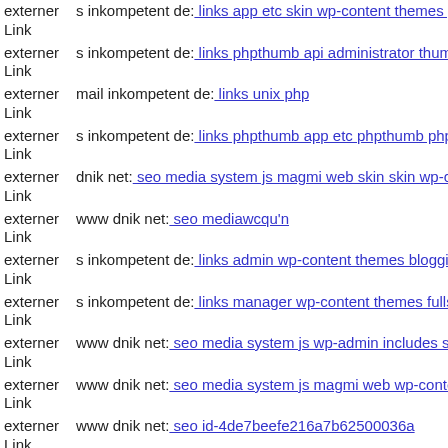externer Link  s inkompetent de: links app etc skin wp-content themes pin...
externer Link  s inkompetent de: links phpthumb api administrator thumb...
externer Link  mail inkompetent de: links unix php
externer Link  s inkompetent de: links phpthumb app etc phpthumb phpth...
externer Link  dnik net: seo media system js magmi web skin skin wp-con...
externer Link  www dnik net: seo mediawcqu'n
externer Link  s inkompetent de: links admin wp-content themes bloggie n...
externer Link  s inkompetent de: links manager wp-content themes fullscr...
externer Link  www dnik net: seo media system js wp-admin includes skin...
externer Link  www dnik net: seo media system js magmi web wp-content...
externer Link  www dnik net: seo id-4de7beefe216a7b62500036a
externer Link  ...